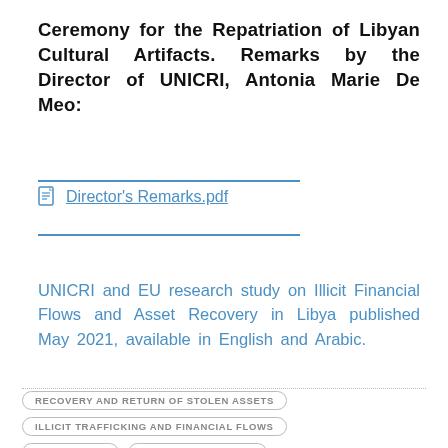Ceremony for the Repatriation of Libyan Cultural Artifacts. Remarks by the Director of UNICRI, Antonia Marie De Meo:
Director's Remarks.pdf
UNICRI and EU research study on Illicit Financial Flows and Asset Recovery in Libya published May 2021, available in English and Arabic.
RECOVERY AND RETURN OF STOLEN ASSETS
ILLICIT TRAFFICKING AND FINANCIAL FLOWS
CORRUPTION    CULTURAL HERITAGE